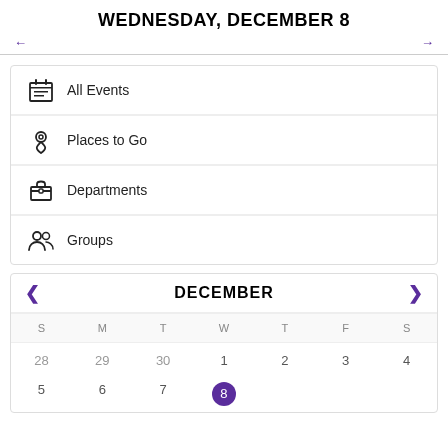WEDNESDAY, DECEMBER 8
All Events
Places to Go
Departments
Groups
[Figure (other): December calendar mini-view with navigation arrows, days of week headers S M T W T F S, and dates row 28 29 30 1 2 3 4, with 8 highlighted as today]